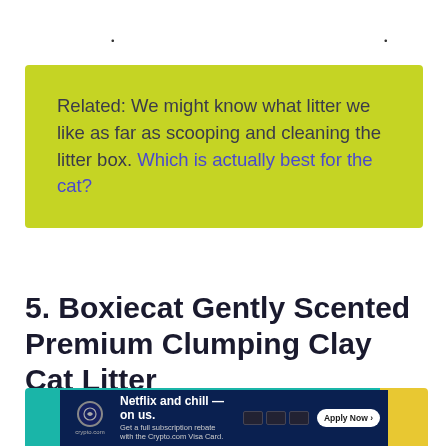• • •
Related: We might know what litter we like as far as scooping and cleaning the litter box. Which is actually best for the cat?
5. Boxiecat Gently Scented Premium Clumping Clay Cat Litter
[Figure (screenshot): Teal and yellow colored bar at the bottom, partially covered by a crypto.com advertisement banner with text 'Netflix and chill — on us.' and 'Apply Now' button.]